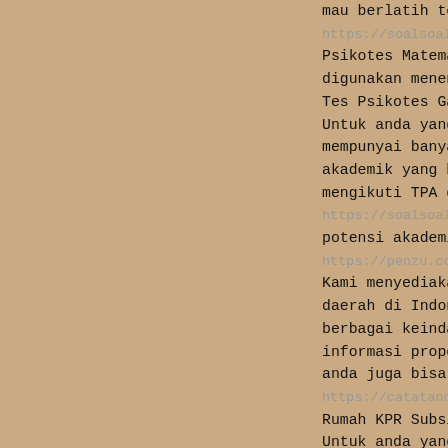mau berlatih tes soal psik
https://soalsoalpsikotes.blogspot.com/2018
Psikotes Matematika Dasar
digunakan menentukan karak
Tes Psikotes Gambar Terbar
Untuk anda yang memerlukan
mempunyai banyak sekali ko
akademik yang bisa anda gu
mengikuti TPA di perusahaa
https://soalsoaltpa.blogspot.com/ - Pre
potensi akademik atau TPA
https://penzu.com/public/663a3387 - Co
Kami menyediakan informasi
daerah di Indonesia, khusu
berbagai keindahan obyek w
informasi properti atau ru
anda juga bisa menghubungi
https://catatancalvinnainggolan.blogspot.co
Rumah KPR Subsidi Di Medan
Untuk anda yang mencari in
di sini. https://blackboxjuni.wordpre
Rumah kpr subsidi tanjung
Untuk anda yang mencari bu
surabaya anda bisa menghub
online di surabaya yang su
penjualan karangan bunga d
karangan bunga dari toko o
dari toko bunga online sur
http://www.berniagabunga.com/ - Flor
melayani penjualan bunga